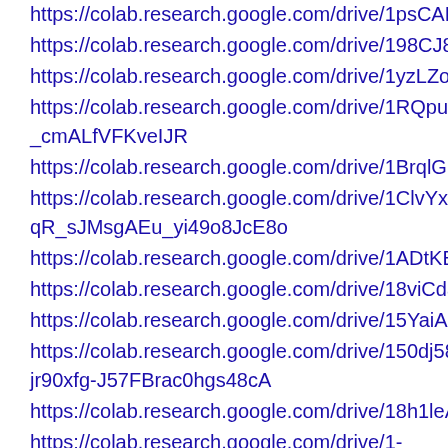https://colab.research.google.com/drive/1psCAFzlt4eEWWG9z...
https://colab.research.google.com/drive/198CJ8nChalV8bs5uLK
https://colab.research.google.com/drive/1yzLZoHRRO5CdWCvg
https://colab.research.google.com/drive/1RQpuXA78iYOQjp1nE-_cmALfVFKveIJR
https://colab.research.google.com/drive/1BrqlGpjlbIwUAhj7on_
https://colab.research.google.com/drive/1ClvYx9xQ-qR_sJMsgAEu_yi49o8JcE8o
https://colab.research.google.com/drive/1ADtKEUKmFbqCVnH0
https://colab.research.google.com/drive/18viCdapJSgLul8dxsw
https://colab.research.google.com/drive/15YaiAbTMT7U0qXqnr
https://colab.research.google.com/drive/150dj58HF8G-jr90xfg-J57FBrac0hgs48cA
https://colab.research.google.com/drive/18h1leAtuXbZFZ3BIkPI
https://colab.research.google.com/drive/1-ApzjrOto7fNdotAimfrxuW4A3kldLTQ
https://colab.research.google.com/drive/1UEssVXADmcFAuwPr
https://colab.research.google.com/drive/138xp0rfwaKIHC3K5ooVctQIkDyJuK4v